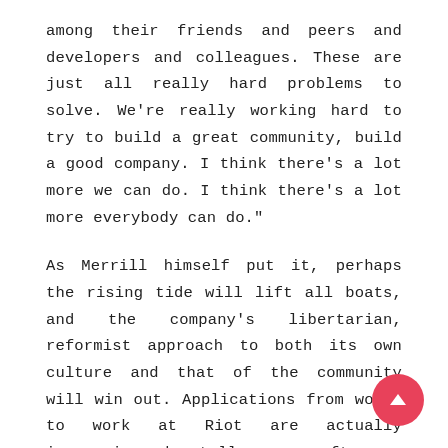among their friends and peers and developers and colleagues. These are just all really hard problems to solve. We're really working hard to try to build a great community, build a good company. I think there's a lot more we can do. I think there's a lot more everybody can do."
As Merrill himself put it, perhaps the rising tide will lift all boats, and the company's libertarian, reformist approach to both its own culture and that of the community will win out. Applications from women to work at Riot are actually increasing, he tells me – after an initial dip – while applications from senior women at the higher levels of the company rose significantly, which Merrill assumes is because of the way the company tackled the accusations head-on and talked about them